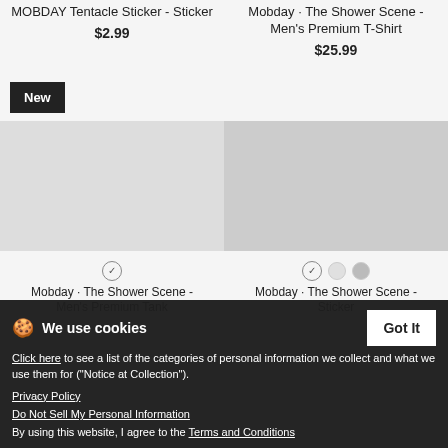MOBDAY Tentacle Sticker - Sticker
$2.99
Mobday · The Shower Scene - Men's Premium T-Shirt
$25.99
New
Mobday · The Shower Scene - Men's Premium Tank
Mobday · The Shower Scene - Sticker
We use cookies
Click here to see a list of the categories of personal information we collect and what we use them for ("Notice at Collection").
Privacy Policy
Do Not Sell My Personal Information
By using this website, I agree to the Terms and Conditions